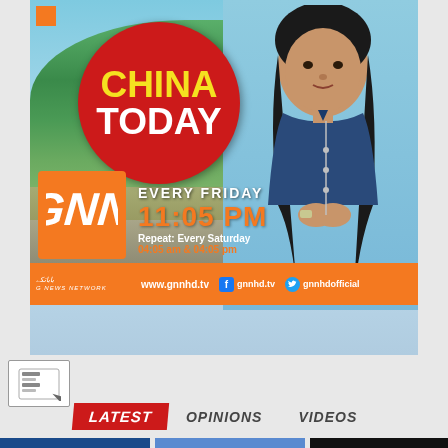[Figure (illustration): GNN TV channel promotional banner for 'China Today' show. Features red circle logo with 'CHINA TODAY' text in yellow and white, Great Wall of China background, female news anchor in navy dress, orange GNN network logo, schedule information 'EVERY FRIDAY 11:05 PM', repeat info 'Every Saturday 04:05 am & 04:05 pm', orange footer bar with website www.gnnhd.tv and social media handles gnnhd.tv and gnnhdofficial]
EVERY FRIDAY 11:05 PM Repeat: Every Saturday 04:05 am & 04:05 pm
www.gnnhd.tv  gnnhd.tv  gnnhdofficial
LATEST  OPINIONS  VIDEOS